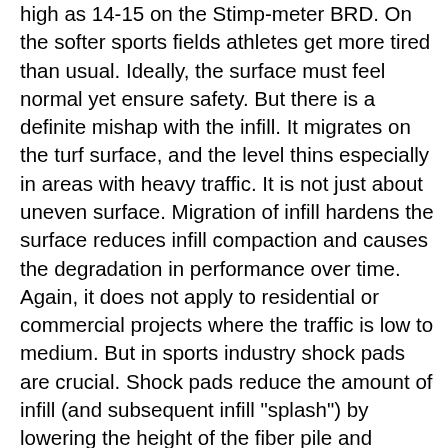high as 14-15 on the Stimp-meter BRD. On the softer sports fields athletes get more tired than usual. Ideally, the surface must feel normal yet ensure safety. But there is a definite mishap with the infill. It migrates on the turf surface, and the level thins especially in areas with heavy traffic. It is not just about uneven surface. Migration of infill hardens the surface reduces infill compaction and causes the degradation in performance over time. Again, it does not apply to residential or commercial projects where the traffic is low to medium. But in sports industry shock pads are crucial. Shock pads reduce the amount of infill (and subsequent infill "splash") by lowering the height of the fiber pile and increasing the density of the pile itself. The concept of having shock pads inside infill itself had changed due to low shock-attenuation levels and extensive maintenance. Today, most business owners regard shock pads like entities as categories. Shock